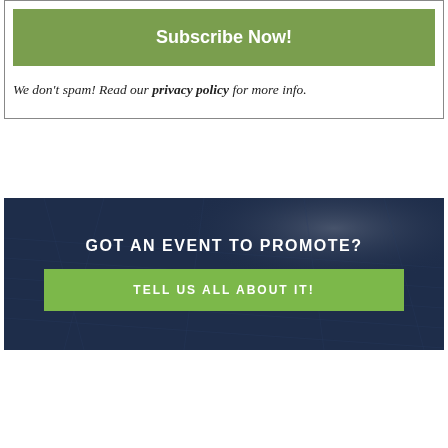Subscribe Now!
We don't spam! Read our privacy policy for more info.
GOT AN EVENT TO PROMOTE?
TELL US ALL ABOUT IT!